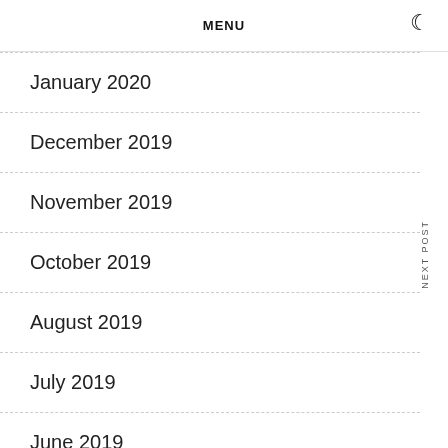MENU
January 2020
December 2019
November 2019
October 2019
August 2019
July 2019
June 2019